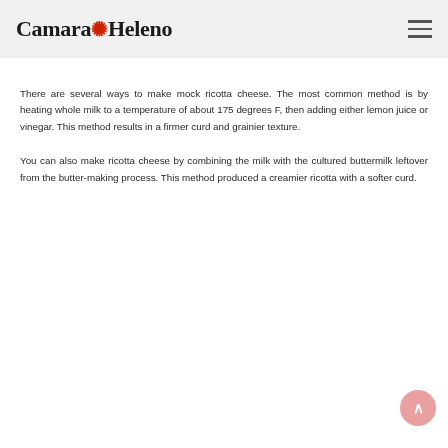Camara Heleno
There are several ways to make mock ricotta cheese. The most common method is by heating whole milk to a temperature of about 175 degrees F, then adding either lemon juice or vinegar. This method results in a firmer curd and grainier texture.
You can also make ricotta cheese by combining the milk with the cultured buttermilk leftover from the butter-making process. This method produced a creamier ricotta with a softer curd.